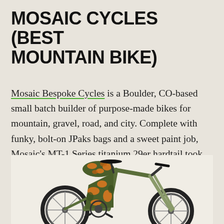MOSAIC CYCLES (BEST MOUNTAIN BIKE)
Mosaic Bespoke Cycles is a Boulder, CO-based small batch builder of purpose-made bikes for mountain, gravel, road, and city. Complete with funky, bolt-on JPaks bags and a sweet paint job, Mosaic's MT-1 Series titanium 29er hardtail took home the overall Best Mountain Bike award.
[Figure (photo): A mountain bike with olive green frame, orange and green camouflage patterned JPaks bags on the seat and frame, with knobby tires, photographed against a light background.]